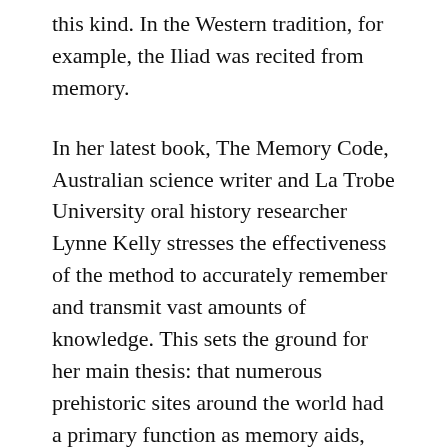this kind. In the Western tradition, for example, the Iliad was recited from memory.
In her latest book, The Memory Code, Australian science writer and La Trobe University oral history researcher Lynne Kelly stresses the effectiveness of the method to accurately remember and transmit vast amounts of knowledge. This sets the ground for her main thesis: that numerous prehistoric sites around the world had a primary function as memory aids, serving as knowledge centres for peoples transitioning from hunter-gatherer to settled agricultural lifestyles. Her list includes henges, cairns and standing stones in Western Europe, Göbekli Tepe in Turkey,